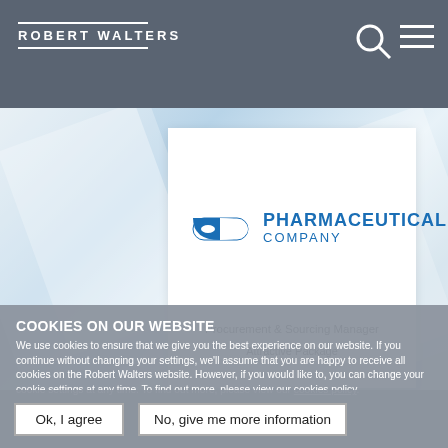ROBERT WALTERS
[Figure (screenshot): Robert Walters recruitment website screenshot showing a Pharmaceutical Company job listing for Procurement & Sourcing Manager with Attractive Package, overlaid with a cookie consent banner]
PHARMACEUTICAL COMPANY
Procurement & Sourcing Manager
Attractive Package
COOKIES ON OUR WEBSITE
We use cookies to ensure that we give you the best experience on our website. If you continue without changing your settings, we'll assume that you are happy to receive all cookies on the Robert Walters website. However, if you would like to, you can change your cookie settings at any time. To find out more, please view our cookies policy.
Ok, I agree
No, give me more information